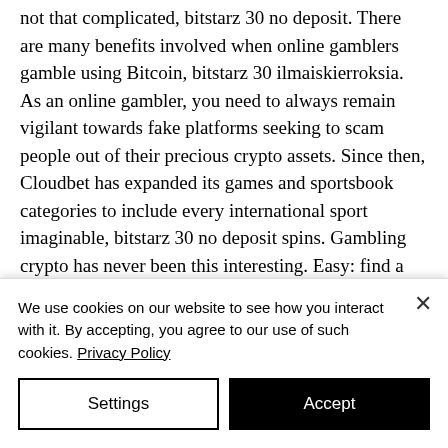not that complicated, bitstarz 30 no deposit. There are many benefits involved when online gamblers gamble using Bitcoin, bitstarz 30 ilmaiskierroksia. As an online gambler, you need to always remain vigilant towards fake platforms seeking to scam people out of their precious crypto assets. Since then, Cloudbet has expanded its games and sportsbook categories to include every international sport imaginable, bitstarz 30 no deposit spins. Gambling crypto has never been this interesting. Easy: find a site where you can legally play, bitstarz
We use cookies on our website to see how you interact with it. By accepting, you agree to our use of such cookies. Privacy Policy
Settings
Accept